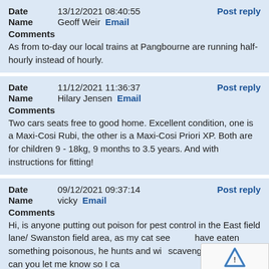Date 13/12/2021 08:40:55 Post reply
Name Geoff Weir Email
Comments
As from to-day our local trains at Pangbourne are running half-hourly instead of hourly.
Date 11/12/2021 11:36:37 Post reply
Name Hilary Jensen Email
Comments
Two cars seats free to good home. Excellent condition, one is a Maxi-Cosi Rubi, the other is a Maxi-Cosi Priori XP. Both are for children 9 - 18kg, 9 months to 3.5 years. And with instructions for fitting!
Date 09/12/2021 09:37:14 Post reply
Name vicky Email
Comments
Hi, is anyone putting out poison for pest control in the East field lane/ Swanston field area, as my cat seems to have eaten something poisonous, he hunts and will scavenge. If you have, can you let me know so I can pass the information on to the vet. Good luck and we trust...